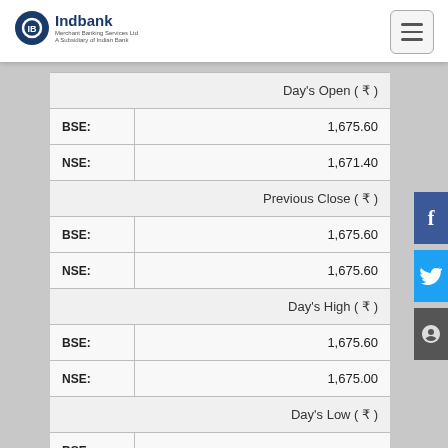Indbank - Merchant Banking Services Ltd
| Day's Open ( ₹ ) |
| BSE: | 1,675.60 |
| NSE: | 1,671.40 |
| Previous Close ( ₹ ) |
| BSE: | 1,675.60 |
| NSE: | 1,675.60 |
| Day's High ( ₹ ) |
| BSE: | 1,675.60 |
| NSE: | 1,675.00 |
| Day's Low ( ₹ ) |
| BSE: |  |